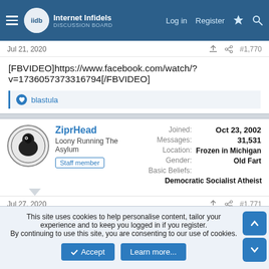Internet Infidels Discussion Board — Log in  Register
Jul 21, 2020  #1,770
[FBVIDEO]https://www.facebook.com/watch/?v=1736057373316794[/FBVIDEO]
👍 blastula
ZiprHead
Loony Running The Asylum
Staff member
Joined: Oct 23, 2002
Messages: 31,531
Location: Frozen in Michigan
Gender: Old Fart
Basic Beliefs: Democratic Socialist Atheist
Jul 27, 2020  #1,771
This site uses cookies to help personalise content, tailor your experience and to keep you logged in if you register.
By continuing to use this site, you are consenting to our use of cookies.